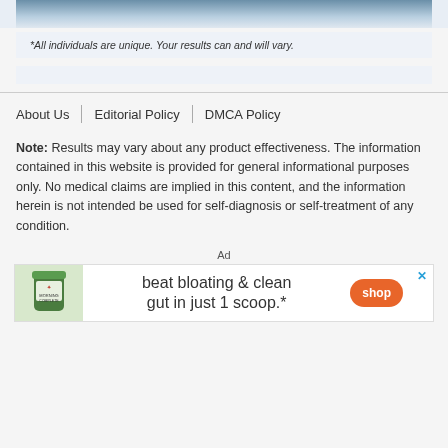[Figure (photo): Partial photo of a person visible at top of page, cropped]
*All individuals are unique. Your results can and will vary.
About Us | Editorial Policy | DMCA Policy
Note: Results may vary about any product effectiveness. The information contained in this website is provided for general informational purposes only. No medical claims are implied in this content, and the information herein is not intended be used for self-diagnosis or self-treatment of any condition.
[Figure (advertisement): Ad banner: green supplement jar, text 'beat bloating & clean gut in just 1 scoop.*', orange 'shop' button, blue X close button]